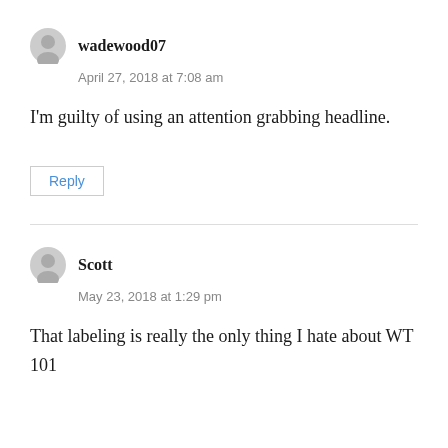wadewood07
April 27, 2018 at 7:08 am
I'm guilty of using an attention grabbing headline.
Reply
Scott
May 23, 2018 at 1:29 pm
That labeling is really the only thing I hate about WT 101